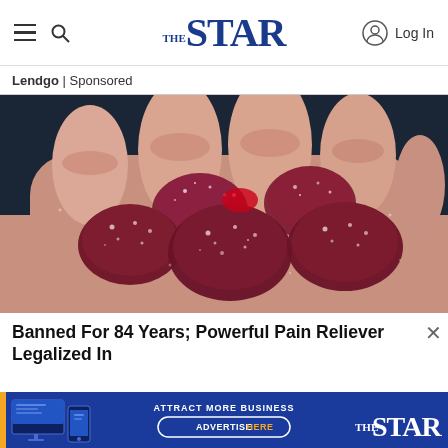THE STAR — navigation header with hamburger menu, search icon, logo, and Log In button
Lendgo | Sponsored
[Figure (photo): Close-up photo of several dark red/maroon sugar-coated gummy candies resting in an open human hand against a dark background]
Banned For 84 Years; Powerful Pain Reliever Legalized In
[Figure (screenshot): Bottom advertisement banner: blue background with orange left stripe, computer/phone device image on left, text 'ATTRACT MORE BUSINESS' and 'ADVERTISE HERE' button in orange, The Star logo on right]